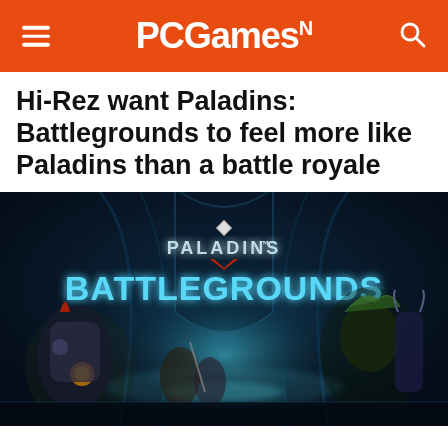PCGamesN
Hi-Rez want Paladins: Battlegrounds to feel more like Paladins than a battle royale
[Figure (photo): Paladins: Battlegrounds promotional artwork showing stylized game characters battling in a dark arena hall with the game logo 'PALADINS BATTLEGROUNDS' displayed prominently in glowing blue text against a dark atmospheric background.]